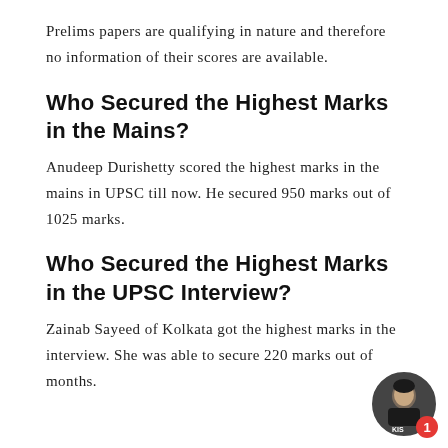Prelims papers are qualifying in nature and therefore no information of their scores are available.
Who Secured the Highest Marks in the Mains?
Anudeep Durishetty scored the highest marks in the mains in UPSC till now. He secured 950 marks out of 1025 marks.
Who Secured the Highest Marks in the UPSC Interview?
Zainab Sayeed of Kolkata got the highest marks in the interview. She was able to secure 220 marks out of months.